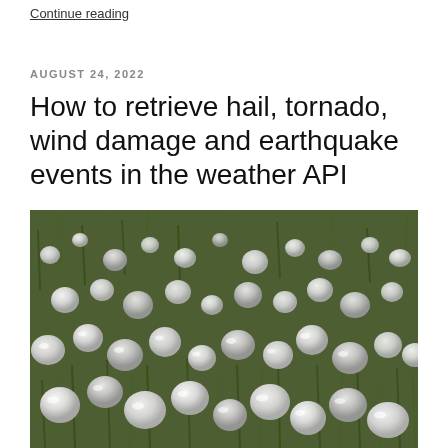Continue reading
AUGUST 24, 2022
How to retrieve hail, tornado, wind damage and earthquake events in the weather API
[Figure (photo): Close-up photograph of hailstones scattered on green grass, showing numerous white/translucent spherical and irregular shaped hailstones of varying sizes on a grass surface]